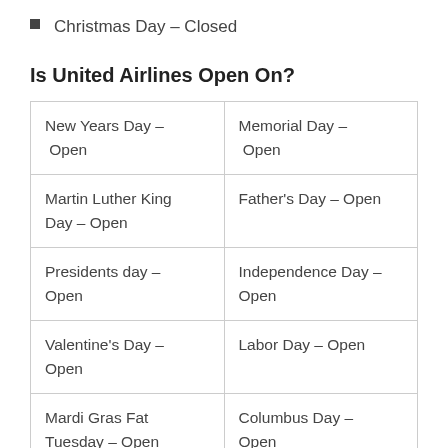Christmas Day – Closed
Is United Airlines Open On?
| New Years Day – Open | Memorial Day – Open |
| Martin Luther King Day – Open | Father's Day  – Open |
| Presidents day – Open | Independence Day – Open |
| Valentine's Day – Open | Labor Day – Open |
| Mardi Gras Fat Tuesday – Open | Columbus Day  – Open |